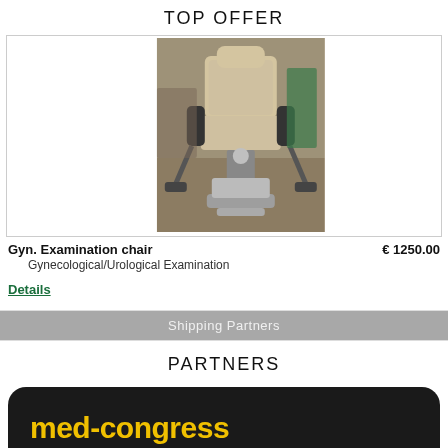TOP OFFER
[Figure (photo): Gynecological/Urological examination chair photographed in a clinical or storage setting]
Gyn. Examination chair
Gynecological/Urological Examination
€ 1250.00
Details
Shipping Partners
PARTNERS
[Figure (logo): med-congress logo: yellow bold text on dark/black rounded rectangle background]